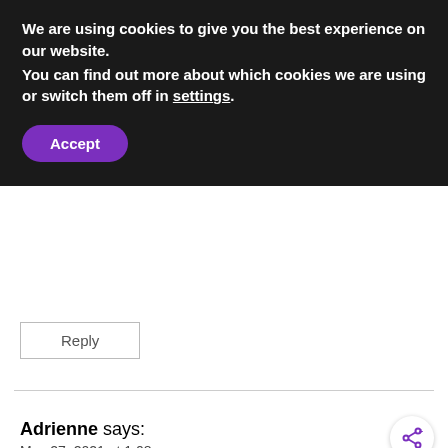We are using cookies to give you the best experience on our website.
You can find out more about which cookies we are using or switch them off in settings.
Accept
Reply
Adrienne says:
May 27, 2021 at 1:08 pm
WHAT'S NEXT → Please Don't Make Banan...
Succulents for the most part don't flower
[Figure (screenshot): Advertisement banner for Visit Premium Outlets - Leesburg Premium Outlets with logo and navigation icon]